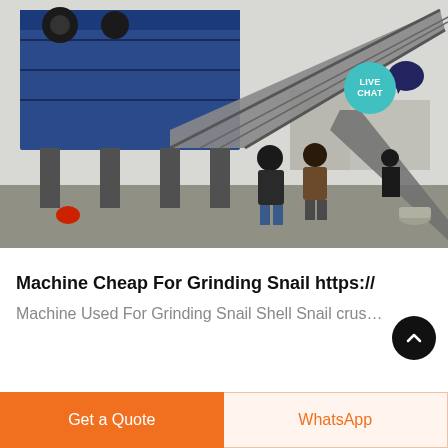[Figure (photo): Industrial grinding/crushing machinery at an outdoor site with two workers in the foreground observing the large blue conveyor and screening equipment. A 'LIVE CHAT' badge is overlaid in the top-right corner of the image.]
Machine Cheap For Grinding Snail https://
Machine Used For Grinding Snail Shell Snail crus…
Get a Quote
WhatsApp